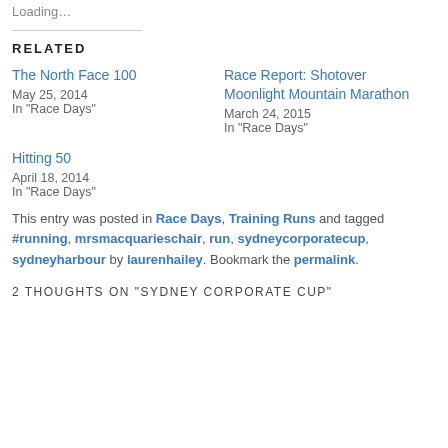Loading…
RELATED
The North Face 100
May 25, 2014
In "Race Days"
Race Report: Shotover Moonlight Mountain Marathon
March 24, 2015
In "Race Days"
Hitting 50
April 18, 2014
In "Race Days"
This entry was posted in Race Days, Training Runs and tagged #running, mrsmacquarieschair, run, sydneycorporatecup, sydneyharbour by laurenhailey. Bookmark the permalink.
2 THOUGHTS ON "SYDNEY CORPORATE CUP"